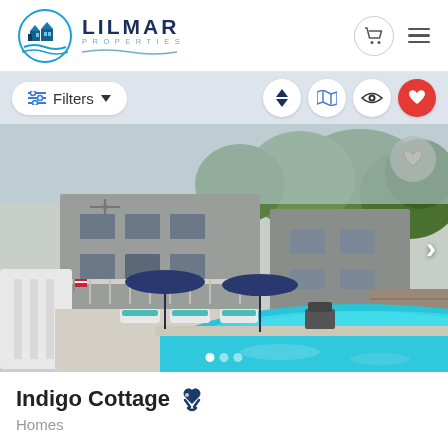[Figure (logo): Lilmar Properties logo with circular blue wave/house icon on left, company name LILMAR PROPERTIES in dark navy text on right]
[Figure (screenshot): Filter bar with Filters button on left and sort/map/view/favorites icon buttons on right]
[Figure (photo): Outdoor pool area of vacation rental home showing lounge chairs, blue market umbrellas, a curved pool with turquoise water, multi-story grey home with balconies in background, surrounded by trees]
Indigo Cottage 🐾
Homes